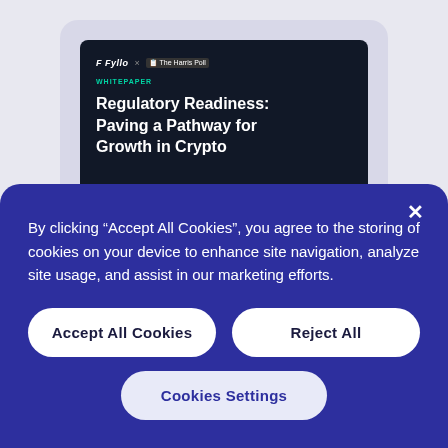[Figure (screenshot): A dark-themed document preview showing a report titled 'Regulatory Readiness: Paving a Pathway for Growth in Crypto' with Fyllo and The Harris Poll logos, on a light gray rounded card background.]
By clicking “Accept All Cookies”, you agree to the storing of cookies on your device to enhance site navigation, analyze site usage, and assist in our marketing efforts.
Accept All Cookies
Reject All
Cookies Settings